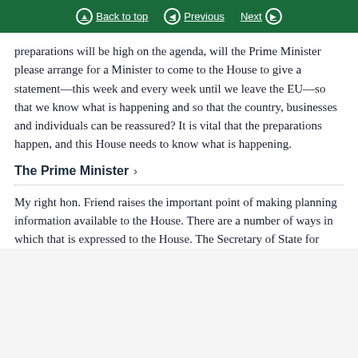Back to top | Previous | Next
preparations will be high on the agenda, will the Prime Minister please arrange for a Minister to come to the House to give a statement—this week and every week until we leave the EU—so that we know what is happening and so that the country, businesses and individuals can be reassured? It is vital that the preparations happen, and this House needs to know what is happening.
The Prime Minister
My right hon. Friend raises the important point of making planning information available to the House. There are a number of ways in which that is expressed to the House. The Secretary of State for